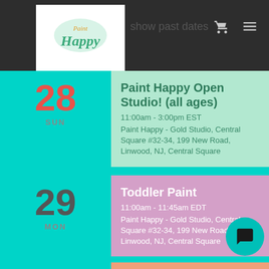show past dates
[Figure (logo): Paint Happy logo with teal watercolor paint brush text]
28 SUN — Paint Happy Open Studio! (all ages) — 11:00am - 3:00pm EST — Paint Happy - Gold Studio, Central Square #32-34, 199 New Road, Linwood, NJ, Central Square
29 MON — Toddler Paint — 11:00am - 11:45am EDT — Paint Happy - Gold Studio, Central Square #32-34, 199 New Road, Linwood, NJ, Central Square
30 TUE — Pre-Teen/Teen Art Class — 5:00pm - 6:15pm EST — Paint Happy - Gold Studio, Central Square #32-34, 199 New Road, Linwood, NJ, Central Square